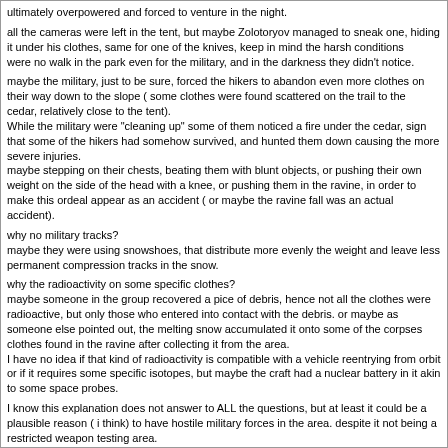ultimately overpowered and forced to venture in the night.
all the cameras were left in the tent, but maybe Zolotoryov managed to sneak one, hiding it under his clothes, same for one of the knives, keep in mind the harsh conditions
were no walk in the park even for the military, and in the darkness they didn't notice.
maybe the military, just to be sure, forced the hikers to abandon even more clothes on their way down to the slope ( some clothes were found scattered on the trail to the
cedar, relatively close to the tent).
While the military were "cleaning up" some of them noticed a fire under the cedar, sign that some of the hikers had somehow survived, and hunted them down causing the more severe injuries.
maybe stepping on their chests, beating them with blunt objects, or pushing their own weight on the side of the head with a knee, or pushing them in the ravine, in order to make this ordeal appear as an accident ( or maybe the ravine fall was an actual accident).
why no military tracks?
maybe they were using snowshoes, that distribute more evenly the weight and leave less permanent compression tracks in the snow.
why the radioactivity on some specific clothes?
maybe someone in the group recovered a pice of debris, hence not all the clothes were radioactive, but only those who entered into contact with the debris. or maybe as someone else pointed out, the melting snow accumulated it onto some of the corpses clothes found in the ravine after collecting it from the area.
I have no idea if that kind of radioactivity is compatible with a vehicle reentrying from orbit or if it requires some specific isotopes, but maybe the craft had a nuclear battery in it akin to some space probes.
I know this explanation does not answer to ALL the questions, but at least it could be a plausible reason ( i think) to have hostile military forces in the area. despite it not being a restricted weapon testing area.
And yes i know the debris could be a recent thing, happened decades after the dyatlov accident, but 2 unusual fenomenons in the same place may well not be a coincidence.